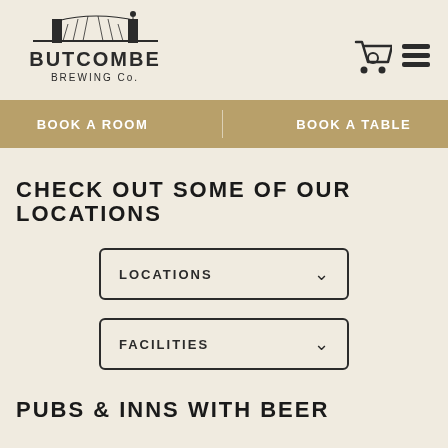[Figure (logo): Butcombe Brewing Co. logo with bridge illustration above text]
[Figure (other): Shopping cart icon and hamburger menu icon in top right]
BOOK A ROOM   BOOK A TABLE
CHECK OUT SOME OF OUR LOCATIONS
LOCATIONS dropdown
FACILITIES dropdown
PUBS & INNS WITH BEER